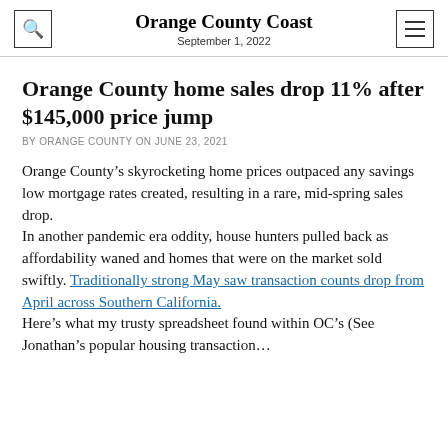Orange County Coast
September 1, 2022
Orange County home sales drop 11% after $145,000 price jump
BY ORANGE COUNTY ON JUNE 23, 2021
Orange County’s skyrocketing home prices outpaced any savings low mortgage rates created, resulting in a rare, mid-spring sales drop.
In another pandemic era oddity, house hunters pulled back as affordability waned and homes that were on the market sold swiftly. Traditionally strong May saw transaction counts drop from April across Southern California.
Here’s what my trusty spreadsheet found within OC’s (See Jonathan’s popular housing transaction…